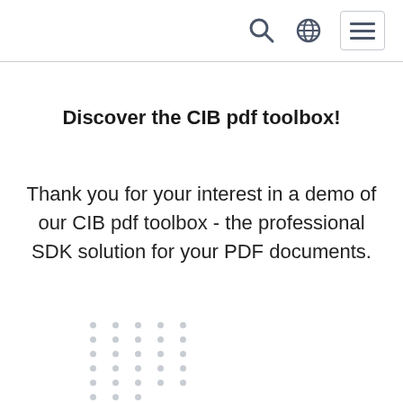[search icon] [globe icon] [menu icon]
Discover the CIB pdf toolbox!
Thank you for your interest in a demo of our CIB pdf toolbox - the professional SDK solution for your PDF documents.
[Figure (other): Decorative dot grid pattern at bottom of page]